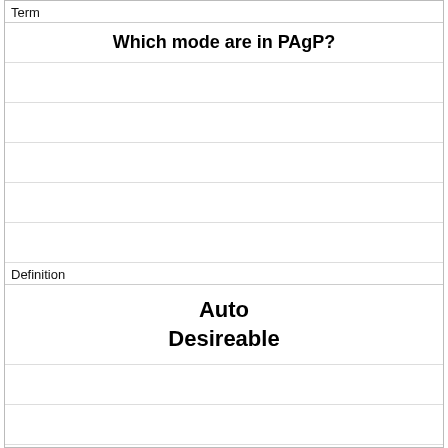Term
Which mode are in PAgP?
Definition
Auto
Desireable